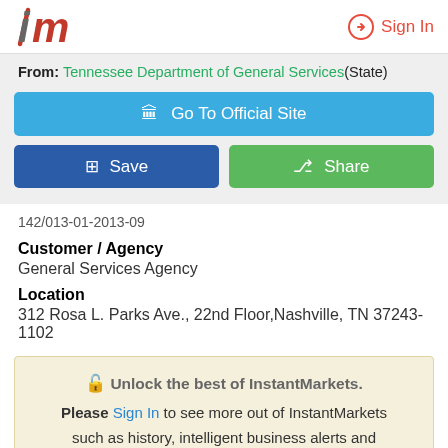InstantMarkets logo | Sign In
From: Tennessee Department of General Services(State)
🏛 Go To Official Site
+ Save | Share
142/013-01-2013-09
Customer / Agency
General Services Agency
Location
312 Rosa L. Parks Ave., 22nd Floor,Nashville, TN 37243-1102
🔓 Unlock the best of InstantMarkets. Please Sign In to see more out of InstantMarkets such as history, intelligent business alerts and many more.